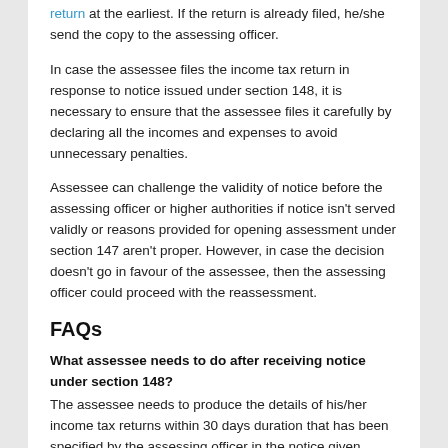return at the earliest. If the return is already filed, he/she send the copy to the assessing officer.
In case the assessee files the income tax return in response to notice issued under section 148, it is necessary to ensure that the assessee files it carefully by declaring all the incomes and expenses to avoid unnecessary penalties.
Assessee can challenge the validity of notice before the assessing officer or higher authorities if notice isn't served validly or reasons provided for opening assessment under section 147 aren't proper. However, in case the decision doesn't go in favour of the assessee, then the assessing officer could proceed with the reassessment.
FAQs
What assessee needs to do after receiving notice under section 148?
The assessee needs to produce the details of his/her income tax returns within 30 days duration that has been specified by the assessing officer in the notice given.